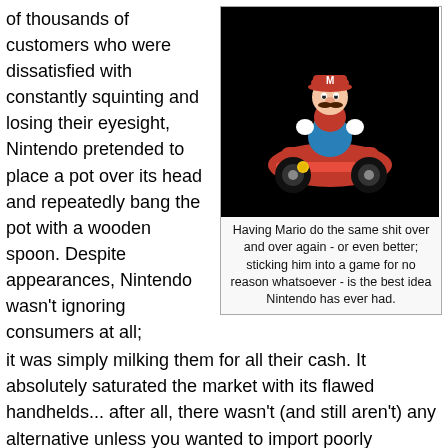of thousands of customers who were dissatisfied with constantly squinting and losing their eyesight, Nintendo pretended to place a pot over its head and repeatedly bang the pot with a wooden spoon. Despite appearances, Nintendo wasn't ignoring consumers at all;
[Figure (illustration): Mario driving a go-kart (Mario Kart), rendered as a 3D video game character on a black background]
Having Mario do the same shit over and over again - or even better; sticking him into a game for no reason whatsoever - is the best idea Nintendo has ever had.
it was simply milking them for all their cash. It absolutely saturated the market with its flawed handhelds... after all, there wasn't (and still aren't) any alternative unless you wanted to import poorly supported Asian handhelds like the Wonderswan and the twelve incoherent Japanese games currently available for it. In fairly thick secrecy (for the gaming industry), Nintendo had developed a version of the Game Boy Advance that